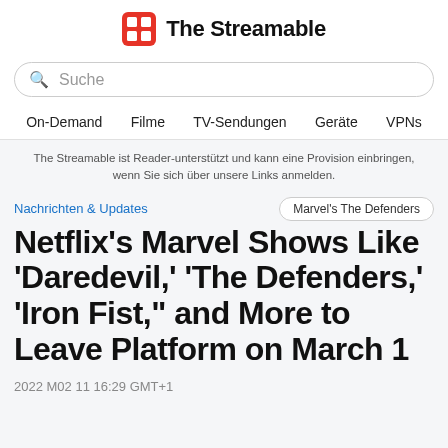The Streamable
Suche
On-Demand  Filme  TV-Sendungen  Geräte  VPNs
The Streamable ist Reader-unterstützt und kann eine Provision einbringen, wenn Sie sich über unsere Links anmelden.
Nachrichten & Updates
Marvel's The Defenders
Netflix's Marvel Shows Like 'Daredevil,' 'The Defenders,' 'Iron Fist,' and More to Leave Platform on March 1
2022 M02 11 16:29 GMT+1